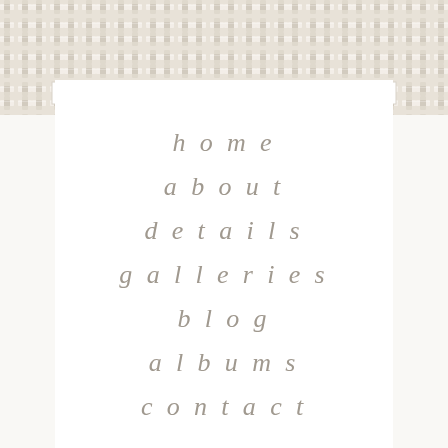[Figure (illustration): Woven basket weave texture pattern in beige/taupe tones forming a decorative header band at the top of the page]
home
about
details
galleries
blog
albums
contact